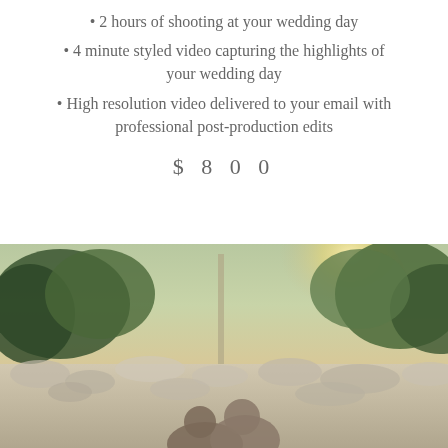• 2 hours of shooting at your wedding day
• 4 minute styled video capturing the highlights of your wedding day
• High resolution video delivered to your email with professional post-production edits
$800
[Figure (photo): Outdoor photo of a couple outdoors near a rocky area with trees and warm sunlight in the background]